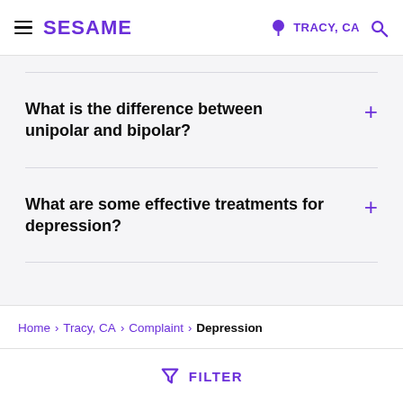SESAME | TRACY, CA
What is the difference between unipolar and bipolar?
What are some effective treatments for depression?
Home > Tracy, CA > Complaint > Depression
FILTER